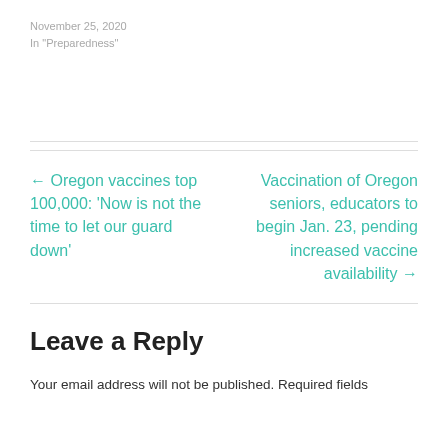November 25, 2020
In "Preparedness"
← Oregon vaccines top 100,000: 'Now is not the time to let our guard down'
Vaccination of Oregon seniors, educators to begin Jan. 23, pending increased vaccine availability →
Leave a Reply
Your email address will not be published. Required fields